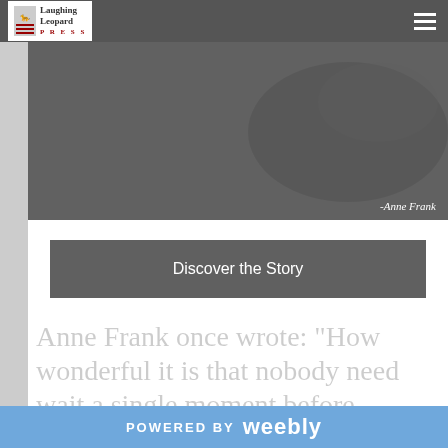Laughing Leopard Press
The Blob is Back!
A. Blob is back and it looks like it is back to its bullying ways--that is, until one brave girl takes a stand…
-Anne Frank
Discover the Story
Anne Frank once wrote: “How wonderful it is that nobody need wait a single moment before starting to improve the world”. In her tragic situation, she was able to recognize that it is not only the large actions that
POWERED BY weebly